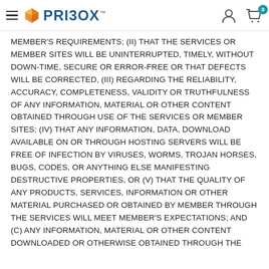PRIBOX™
MEMBER'S REQUIREMENTS; (II) THAT THE SERVICES OR MEMBER SITES WILL BE UNINTERRUPTED, TIMELY, WITHOUT DOWN-TIME, SECURE OR ERROR-FREE OR THAT DEFECTS WILL BE CORRECTED, (III) REGARDING THE RELIABILITY, ACCURACY, COMPLETENESS, VALIDITY OR TRUTHFULNESS OF ANY INFORMATION, MATERIAL OR OTHER CONTENT OBTAINED THROUGH USE OF THE SERVICES OR MEMBER SITES; (IV) THAT ANY INFORMATION, DATA, DOWNLOAD AVAILABLE ON OR THROUGH HOSTING SERVERS WILL BE FREE OF INFECTION BY VIRUSES, WORMS, TROJAN HORSES, BUGS, CODES, OR ANYTHING ELSE MANIFESTING DESTRUCTIVE PROPERTIES, OR (V) THAT THE QUALITY OF ANY PRODUCTS, SERVICES, INFORMATION OR OTHER MATERIAL PURCHASED OR OBTAINED BY MEMBER THROUGH THE SERVICES WILL MEET MEMBER'S EXPECTATIONS; AND (C) ANY INFORMATION, MATERIAL OR OTHER CONTENT DOWNLOADED OR OTHERWISE OBTAINED THROUGH THE